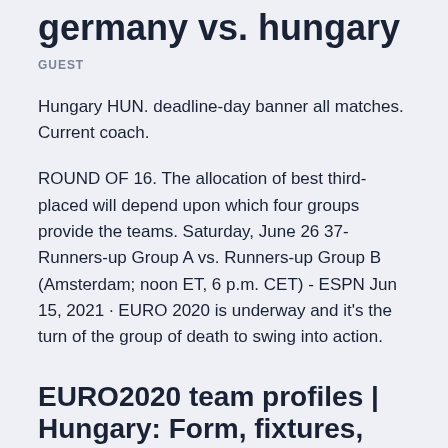germany vs. hungary
GUEST
Hungary HUN. deadline-day banner all matches. Current coach.
ROUND OF 16. The allocation of best third-placed will depend upon which four groups provide the teams. Saturday, June 26 37- Runners-up Group A vs. Runners-up Group B (Amsterdam; noon ET, 6 p.m. CET) - ESPN Jun 15, 2021 · EURO 2020 is underway and it's the turn of the group of death to swing into action.
EURO2020 team profiles | Hungary: Form, fixtures, players to